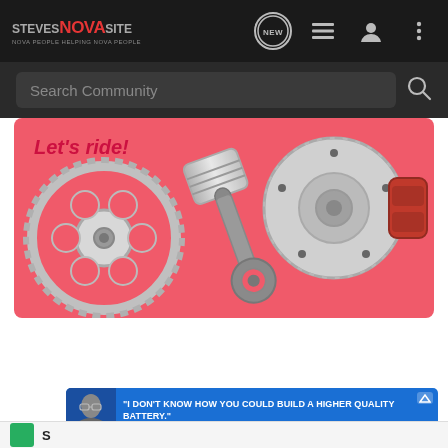[Figure (screenshot): StevesNOVASite navigation bar with logo on left and icons (NEW bubble, list, profile, more) on right, dark background]
[Figure (screenshot): Search Community search bar with dark background and magnifying glass icon]
[Figure (illustration): Pink/red banner with 'Let's ride!' text and automotive parts (gear/sprocket, piston connecting rod, brake disc and caliper) on pink background]
Take a look
[Figure (screenshot): Blue advertisement banner with person photo and bold text: 'I DON'T KNOW HOW YOU COULD BUILD A HIGHER QUALITY BATTERY.' attributed to MIKE DUSOLD, OWNER, DUSOLD DESIGNS]